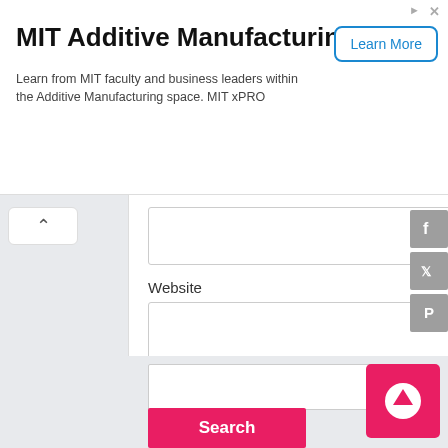[Figure (screenshot): MIT Additive Manufacturing advertisement banner with title, description text, and Learn More button]
MIT Additive Manufacturing
Learn from MIT faculty and business leaders within the Additive Manufacturing space. MIT xPRO
Website
[Figure (screenshot): Web form with Website input field, Post Comment button, search box, Search button, social media icons (Facebook, Twitter, Pinterest), collapse arrow, and scroll-to-top button]